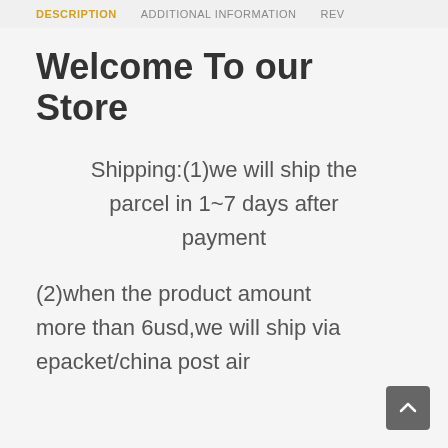DESCRIPTION   ADDITIONAL INFORMATION   REV
Welcome To our Store
Shipping:(1)we will ship the parcel in 1~7 days after payment
(2)when the product amount more than 6usd,we will ship via epacket/china post air